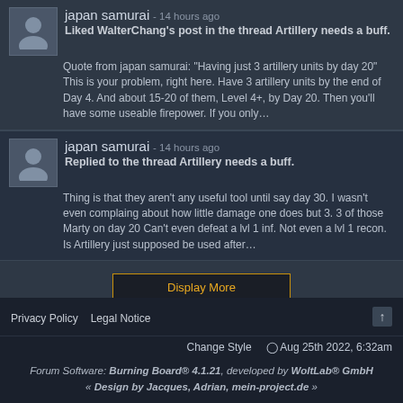japan samurai - 14 hours ago
Liked WalterChang's post in the thread Artillery needs a buff.
Quote from japan samurai: "Having just 3 artillery units by day 20" This is your problem, right here. Have 3 artillery units by the end of Day 4. And about 15-20 of them, Level 4+, by Day 20. Then you'll have some useable firepower. If you only…
japan samurai - 14 hours ago
Replied to the thread Artillery needs a buff.
Thing is that they aren't any useful tool until say day 30. I wasn't even complaing about how little damage one does but 3. 3 of those Marty on day 20 Can't even defeat a lvl 1 inf. Not even a lvl 1 recon. Is Artillery just supposed be used after…
Display More
Privacy Policy  Legal Notice
Change Style  ⊙ Aug 25th 2022, 6:32am
Forum Software: Burning Board® 4.1.21, developed by WoltLab® GmbH
« Design by Jacques, Adrian, mein-project.de »